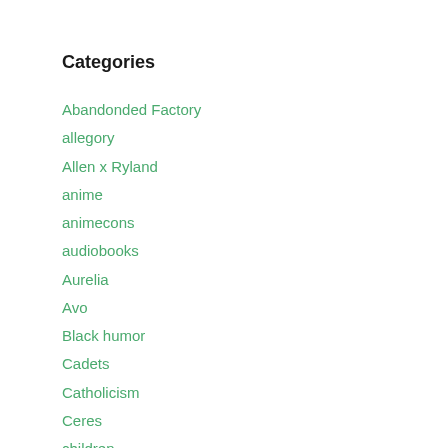Categories
Abandonded Factory
allegory
Allen x Ryland
anime
animecons
audiobooks
Aurelia
Avo
Black humor
Cadets
Catholicism
Ceres
children
christianity
Christmas